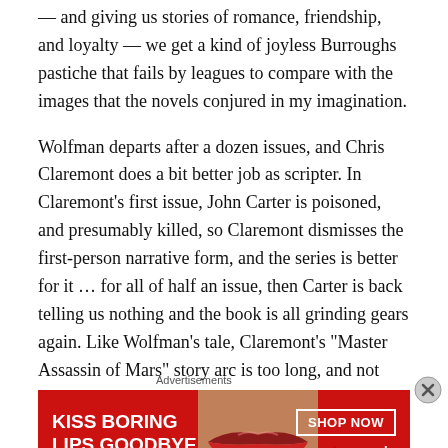— and giving us stories of romance, friendship, and loyalty — we get a kind of joyless Burroughs pastiche that fails by leagues to compare with the images that the novels conjured in my imagination.
Wolfman departs after a dozen issues, and Chris Claremont does a bit better job as scripter. In Claremont's first issue, John Carter is poisoned, and presumably killed, so Claremont dismisses the first-person narrative form, and the series is better for it … for all of half an issue, then Carter is back telling us nothing and the book is all grinding gears again. Like Wolfman's tale, Claremont's "Master Assassin of Mars" story arc is too long, and not helped at all by a second-rate effort from artist Rudy
Advertisements
[Figure (other): Advertisement banner for Macy's: red background with white bold text 'KISS BORING LIPS GOODBYE', an image of lips/face, 'SHOP NOW' button outline, and Macy's star logo.]